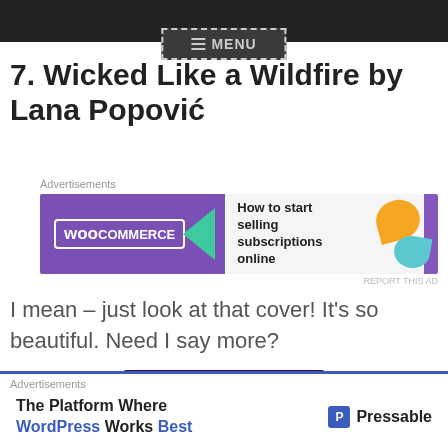MENU
7. Wicked Like a Wildfire by Lana Popović
[Figure (screenshot): WooCommerce advertisement banner: 'How to start selling subscriptions online']
I mean – just look at that cover! It's so beautiful. Need I say more?
[Figure (photo): Book cover of Wicked Like a Wildfire by Lana Popović — dark purple background with floral illustration and author name]
[Figure (screenshot): Pressable advertisement: 'The Platform Where WordPress Works Best']